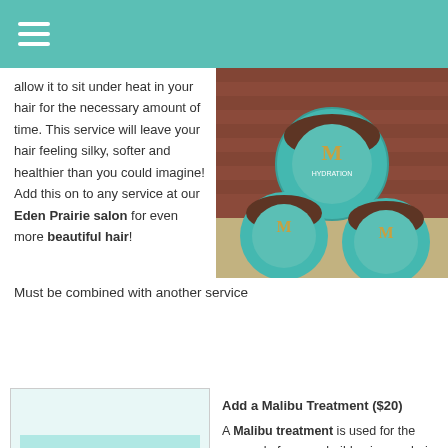Navigation menu header bar
allow it to sit under heat in your hair for the necessary amount of time. This service will leave your hair feeling silky, softer and healthier than you could imagine! Add this on to any service at our Eden Prairie salon for even more beautiful hair!
[Figure (photo): Photo of three turquoise and brown Moroccanoil Hydration hair treatment jars on an outdoor surface]
Must be combined with another service
[Figure (logo): Malibu hair care product logo with teal background and MALIBU text]
Add a Malibu Treatment ($20)
A Malibu treatment is used for the removal of excess buildup in your hair. Hard water and chlorine are very